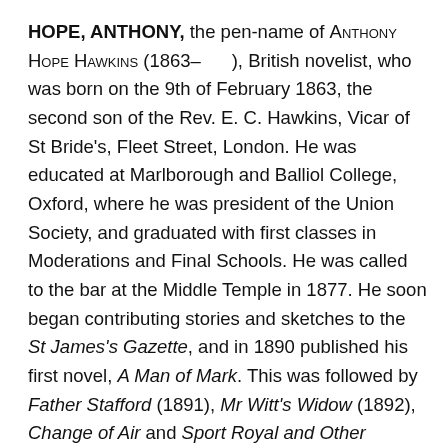HOPE, ANTHONY, the pen-name of Anthony Hope Hawkins (1863– ), British novelist, who was born on the 9th of February 1863, the second son of the Rev. E. C. Hawkins, Vicar of St Bride's, Fleet Street, London. He was educated at Marlborough and Balliol College, Oxford, where he was president of the Union Society, and graduated with first classes in Moderations and Final Schools. He was called to the bar at the Middle Temple in 1877. He soon began contributing stories and sketches to the St James's Gazette, and in 1890 published his first novel, A Man of Mark. This was followed by Father Stafford (1891), Mr Witt's Widow (1892), Change of Air and Sport Royal and Other Stories (1893). By this time he had attracted by his vivacious talent the attention of editors and readers; but it was not till the following year that he attained a great popular success with the publication (May 1894) of The Prisoner of Zenda. This was